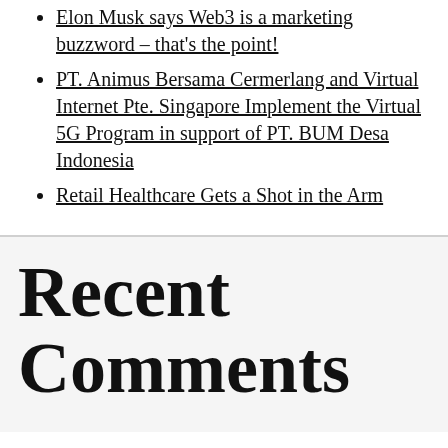Elon Musk says Web3 is a marketing buzzword – that's the point!
PT. Animus Bersama Cermerlang and Virtual Internet Pte. Singapore Implement the Virtual 5G Program in support of PT. BUM Desa Indonesia
Retail Healthcare Gets a Shot in the Arm
Recent Comments